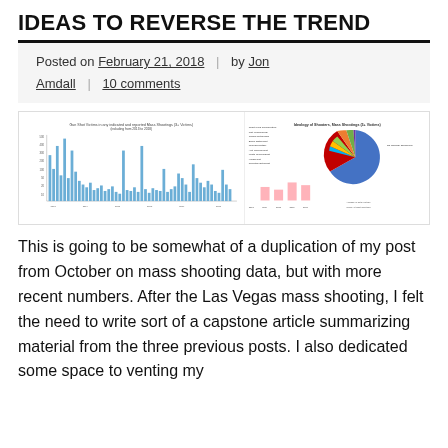IDEAS TO REVERSE THE TREND
Posted on February 21, 2018  |  by Jon Amdall  |  10 comments
[Figure (bar-chart): Bar chart showing mass shooting data over time, with years on x-axis and counts on y-axis]
[Figure (pie-chart): Pie chart titled 'Ideology of Shooters, Mass Shootings (3+ Victims)' showing breakdown by ideology including large blue, red, and other colored segments, with small bar charts below]
This is going to be somewhat of a duplication of my post from October on mass shooting data, but with more recent numbers. After the Las Vegas mass shooting, I felt the need to write sort of a capstone article summarizing material from the three previous posts. I also dedicated some space to venting my